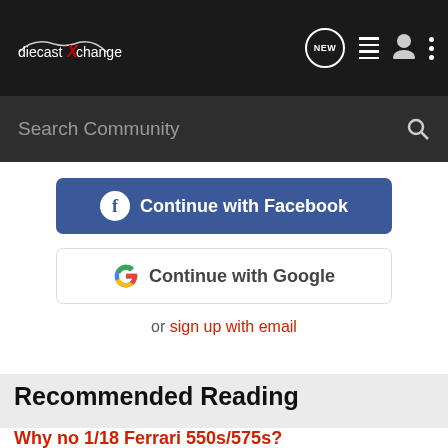diecastXchange
Search Community
Continue with Facebook
Continue with Google
or sign up with email
Recommended Reading
Why no 1/18 Ferrari 550s/575s?
DX Hobby Talk
6  646